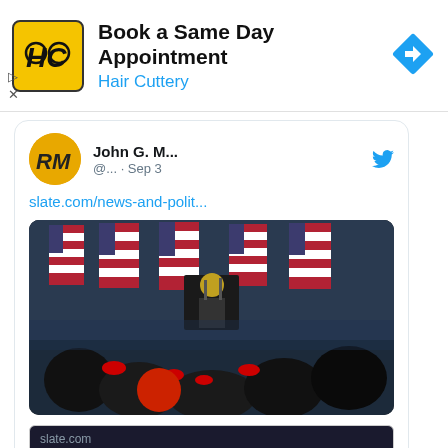[Figure (screenshot): Hair Cuttery advertisement banner with yellow logo showing HC letters, text 'Book a Same Day Appointment' and 'Hair Cuttery' in blue, blue diamond navigation icon on right, small play and close controls bottom left]
[Figure (screenshot): Twitter/X tweet card from John G. M... (@...) dated Sep 3, with a link to slate.com/news-and-polit..., an image of a political rally scene with American flags and a speaker at a podium, a preview card showing slate.com and headline 'What the Founders Would Say About Trump's Jan. 6 ...' and action icons at bottom]